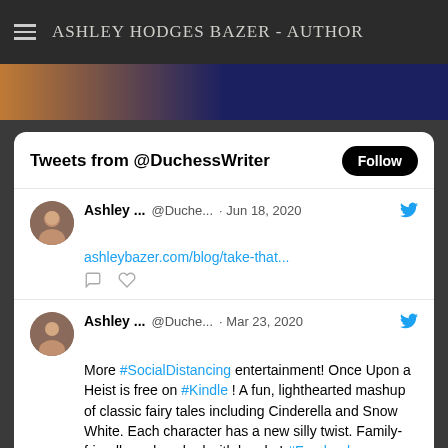ASHLEY HODGES BAZER - AUTHOR
[Figure (photo): Partial image strip showing orange and dark blue gradient, likely a book cover or banner image]
Tweets from @DuchessWriter
Ashley ... @Duche... · Jun 18, 2020
ashleybazer.com/blog/take-that...
Ashley ... @Duche... · Mar 23, 2020
More #SocialDistancing entertainment! Once Upon a Heist is free on #Kindle ! A fun, lighthearted mashup of classic fairy tales including Cinderella and Snow White. Each character has a new silly twist. Family-friendly and packed with laughs! #Freebooks